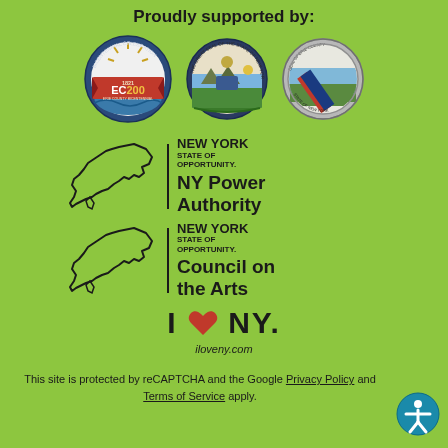Proudly supported by:
[Figure (logo): EC200 Erie County Bicentennial badge logo]
[Figure (logo): Great Seal of the State of New York]
[Figure (logo): Erie County seal]
[Figure (logo): New York State of Opportunity / NY Power Authority logo]
[Figure (logo): New York State of Opportunity / Council on the Arts logo]
[Figure (logo): I Love NY logo with iloveny.com]
This site is protected by reCAPTCHA and the Google Privacy Policy and Terms of Service apply.
[Figure (logo): Accessibility icon button]